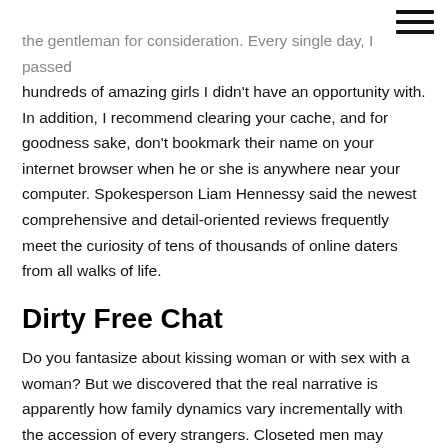the gentleman for consideration. Every single day, I passed hundreds of amazing girls I didn't have an opportunity with. In addition, I recommend clearing your cache, and for goodness sake, don't bookmark their name on your internet browser when he or she is anywhere near your computer. Spokesperson Liam Hennessy said the newest comprehensive and detail-oriented reviews frequently meet the curiosity of tens of thousands of online daters from all walks of life.
Dirty Free Chat
Do you fantasize about kissing woman or with sex with a woman? But we discovered that the real narrative is apparently how family dynamics vary incrementally with the accession of every strangers. Closeted men may create wonderful boyfriends